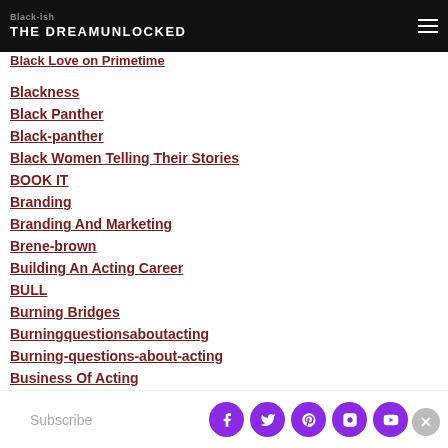THE DREAMUNLOCKED
Black-ish
Black Love on Primetime
Blackness
Black Panther
Black-panther
Black Women Telling Their Stories
BOOK IT
Branding
Branding And Marketing
Brene-brown
Building An Acting Career
BULL
Burning Bridges
Burningquestionsaboutacting
Burning-questions-about-acting
Business Of Acting
Calling Your Own Shots
Subscribe